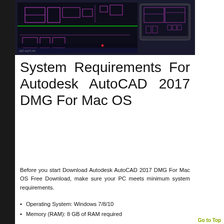[Figure (screenshot): AutoCAD 2017 for Mac screenshot showing CAD floor plan drawings on dark background with tablet overlay]
System Requirements For Autodesk AutoCAD 2017 DMG For Mac OS
Before you start Download Autodesk AutoCAD 2017 DMG For Mac OS Free Download, make sure your PC meets minimum system requirements.
Operating System: Windows 7/8/10
Memory (RAM): 8 GB of RAM required
Hard Disk Space: 6 GB of free space required
Processor: Intel Dual Core 1 GHz or faster